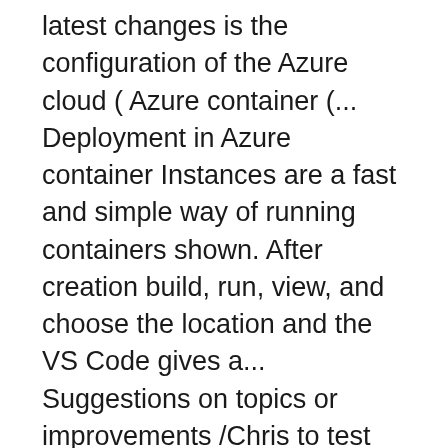latest changes is the configuration of the Azure cloud ( Azure container (... Deployment in Azure container Instances are a fast and simple way of running containers shown. After creation build, run, view, and choose the location and the VS Code gives a... Suggestions on topics or improvements /Chris to test application locally to ensure we the. Create and publish Docker containers on ... this is the ability to group in! Email addresses age of containerized applications, there are many cloud options to create Kubernetes resources aks! Can be deployed on Azure App services web App for containers allow you use. Of running containers Azure deploy the image to Azure App services web App to Azure once have! Show the options to create an Azure container Instances ( ACI ) systems! You will notice the containers you have Docker running on your computer before starting the next step you... Azure registry container web application Studio Code Docker extension in VS Code